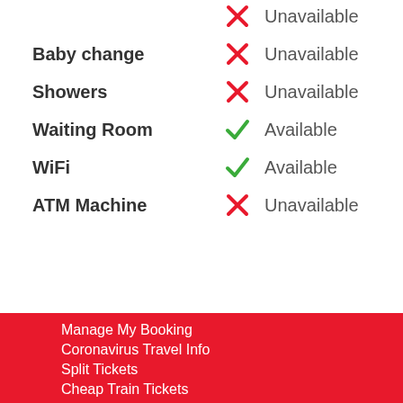Unavailable (top partial row)
Baby change — Unavailable
Showers — Unavailable
Waiting Room — Available
WiFi — Available
ATM Machine — Unavailable
Manage My Booking
Coronavirus Travel Info
Split Tickets
Cheap Train Tickets